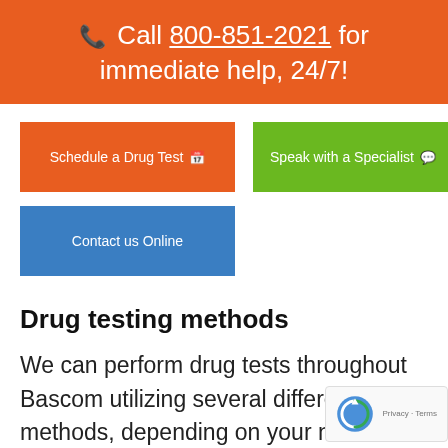📞 Call 800-851-2021 for immediate help, 24/7!
Schedule a Drug Test 📅
Speak with a Specialist 💬
Contact us Online
Drug testing methods
We can perform drug tests throughout Bascom utilizing several different methods, depending on your need. Each method has pros and cons, and